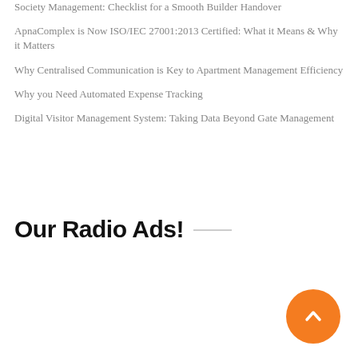Society Management: Checklist for a Smooth Builder Handover
ApnaComplex is Now ISO/IEC 27001:2013 Certified: What it Means & Why it Matters
Why Centralised Communication is Key to Apartment Management Efficiency
Why you Need Automated Expense Tracking
Digital Visitor Management System: Taking Data Beyond Gate Management
Our Radio Ads!
[Figure (other): Orange circular scroll-to-top button with upward chevron arrow]